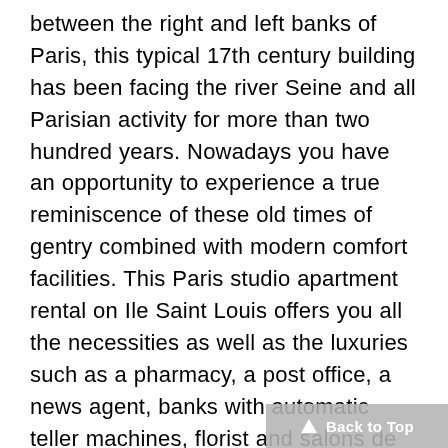between the right and left banks of Paris, this typical 17th century building has been facing the river Seine and all Parisian activity for more than two hundred years. Nowadays you have an opportunity to experience a true reminiscence of these old times of gentry combined with modern comfort facilities. This Paris studio apartment rental on Ile Saint Louis offers you all the necessities as well as the luxuries such as a pharmacy, a post office, a news agent, banks with automatic teller machines, florist and salons de coiffure, bakeries and pâtisseries, grocery stores, traditional restaurants and brasseries, cafés, art galleries and other fine shops. The Ile is organized in such a way that you feel as though you are in a village – at the same time being in the heart of Paris. All of the most important and beautiful places are located